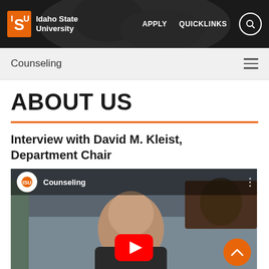Idaho State University — APPLY   QUICKLINKS   [search]
Counseling
ABOUT US
Interview with David M. Kleist, Department Chair
[Figure (screenshot): YouTube video embed showing a man being interviewed, with Idaho State University Counseling channel branding, a YouTube play button, and a scroll-to-top orange button in the corner.]